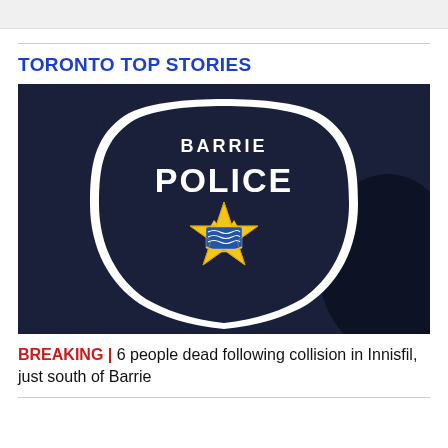TORONTO TOP STORIES
[Figure (photo): Close-up photo of a Barrie Police badge/shoulder patch on a dark navy uniform. The badge is shield-shaped with white border, shows 'BARRIE' text at top, 'POLICE' in large letters, and a gold star with a blue and white crown/crest emblem in the center.]
BREAKING | 6 people dead following collision in Innisfil, just south of Barrie